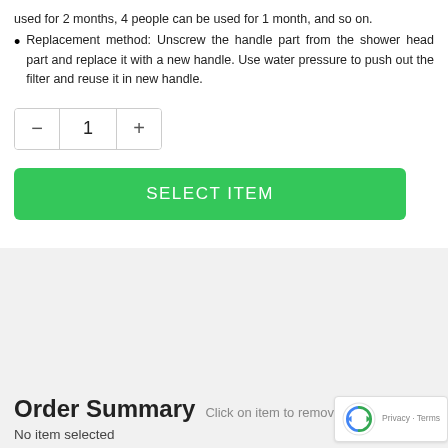used for 2 months, 4 people can be used for 1 month, and so on.
Replacement method: Unscrew the handle part from the shower head part and replace it with a new handle. Use water pressure to push out the filter and reuse it in new handle.
[Figure (other): Quantity selector widget showing minus button, quantity value of 1, and plus button]
[Figure (other): Green SELECT ITEM button]
Order Summary Click on item to remove
No item selected